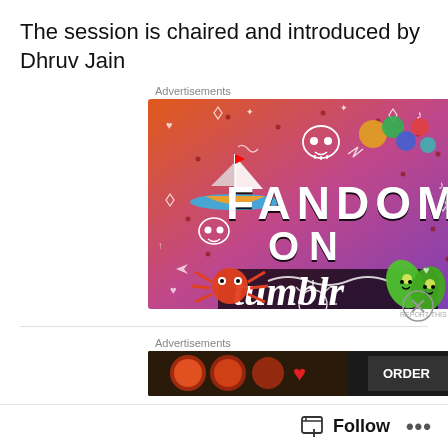The session is chaired and introduced by Dhruv Jain
Advertisements
[Figure (illustration): Tumblr advertisement banner with colorful gradient background (orange to purple) featuring doodles, icons, a sailboat, skull, and text reading FANDOM ON tumblr]
REPORT THIS AD
Advertisements
[Figure (photo): Pizza advertisement image with ORDER button visible, partially cropped]